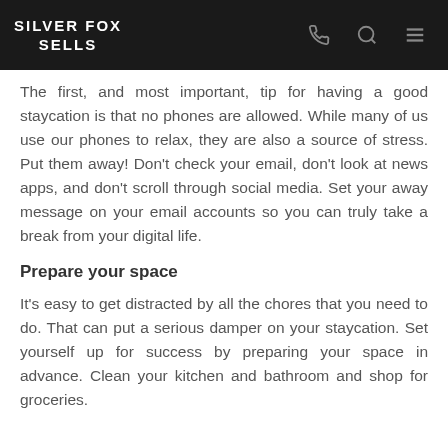SILVER FOX SELLS
The first, and most important, tip for having a good staycation is that no phones are allowed. While many of us use our phones to relax, they are also a source of stress. Put them away! Don't check your email, don't look at news apps, and don't scroll through social media. Set your away message on your email accounts so you can truly take a break from your digital life.
Prepare your space
It's easy to get distracted by all the chores that you need to do. That can put a serious damper on your staycation. Set yourself up for success by preparing your space in advance. Clean your kitchen and bathroom and shop for groceries.